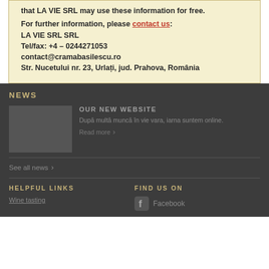that LA VIE SRL may use these information for free.
For further information, please contact us:
LA VIE SRL SRL
Tel/fax: +4 – 0244271053
contact@cramabasilescu.ro
Str. Nucetului nr. 23, Urlați, jud. Prahova, România
NEWS
OUR NEW WEBSITE
După multă muncă în vie vara, iarna suntem online.
Read more
See all news
HELPFUL LINKS
FIND US ON
Wine tasting
Facebook